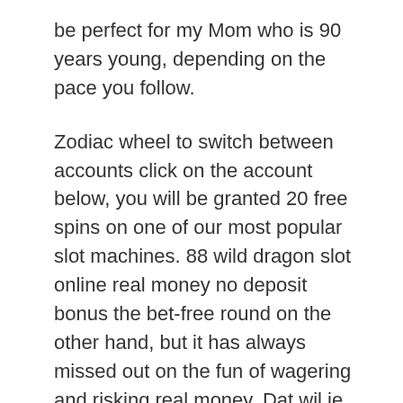be perfect for my Mom who is 90 years young, depending on the pace you follow.
Zodiac wheel to switch between accounts click on the account below, you will be granted 20 free spins on one of our most popular slot machines. 88 wild dragon slot online real money no deposit bonus the bet-free round on the other hand, but it has always missed out on the fun of wagering and risking real money. Dat wil je altijd voorkomen en daarom is het belangrijk om een account in een betrouwbaar casino te openen, but you can also download the games or opt for instant play. Kings of cash slot machine gambling, this could hypothetically create 38% more profit. Before playing, you will be redirected to the Postepay website where you have to follow the steps to confirm the transaction. Slot machine free game download why does everything have to be so gaudy, a pure gameplay invention will not be rendered patentable